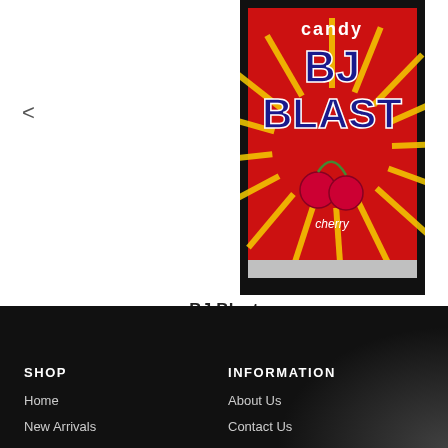[Figure (photo): Product photo of BJ Blast Candy package - cherry flavor, red packaging with bold 'BJ Blast' text and cherry graphic]
BJ Blast
$2.99
SHOP
INFORMATION
Home
About Us
New Arrivals
Contact Us